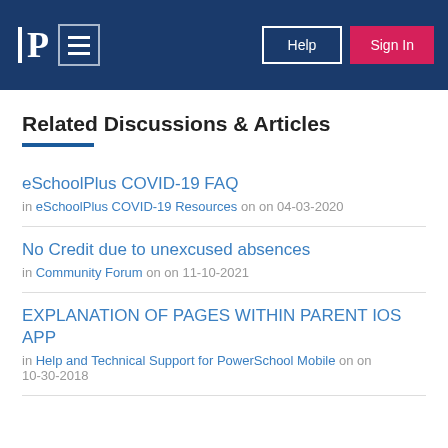PowerSchool Community — Help | Sign In
Related Discussions & Articles
eSchoolPlus COVID-19 FAQ
in eSchoolPlus COVID-19 Resources on on 04-03-2020
No Credit due to unexcused absences
in Community Forum on on 11-10-2021
EXPLANATION OF PAGES WITHIN PARENT IOS APP
in Help and Technical Support for PowerSchool Mobile on on 10-30-2018